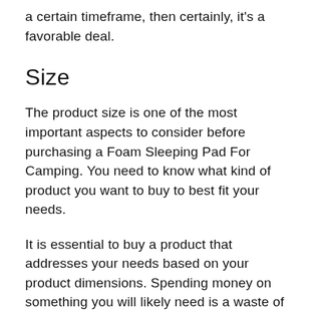a certain timeframe, then certainly, it's a favorable deal.
Size
The product size is one of the most important aspects to consider before purchasing a Foam Sleeping Pad For Camping. You need to know what kind of product you want to buy to best fit your needs.
It is essential to buy a product that addresses your needs based on your product dimensions. Spending money on something you will likely need is a waste of money. You should choose a product that will meet your needs based on its power.